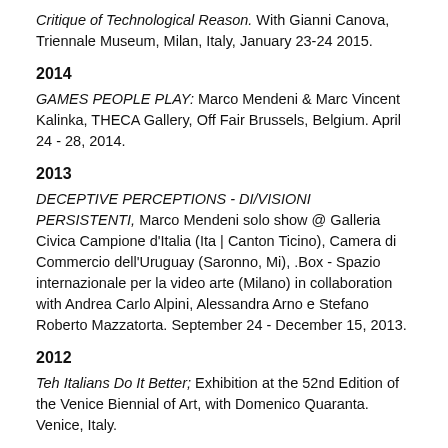Critique of Technological Reason. With Gianni Canova, Triennale Museum, Milan, Italy, January 23-24 2015.
2014
GAMES PEOPLE PLAY: Marco Mendeni & Marc Vincent Kalinka, THECA Gallery, Off Fair Brussels, Belgium. April 24 - 28, 2014.
2013
DECEPTIVE PERCEPTIONS - DI/VISIONI PERSISTENTI, Marco Mendeni solo show @ Galleria Civica Campione d'Italia (Ita | Canton Ticino), Camera di Commercio dell'Uruguay (Saronno, Mi), .Box - Spazio internazionale per la video arte (Milano) in collaboration with Andrea Carlo Alpini, Alessandra Arno e Stefano Roberto Mazzatorta. September 24 - December 15, 2013.
2012
Teh Italians Do It Better; Exhibition at the 52nd Edition of the Venice Biennial of Art, with Domenico Quaranta. Venice, Italy.
2008- 2010
The Tech Silicon Valley Innovation Gallery, Curator, Tech Museum, San José, California.